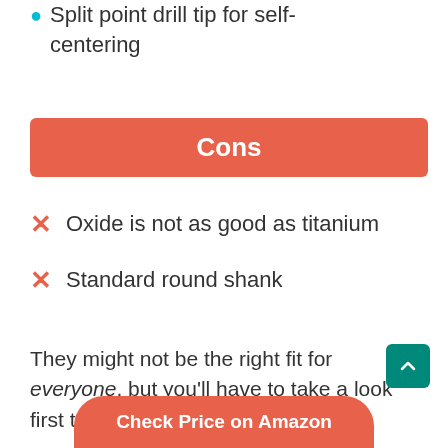Split point drill tip for self-centering
Cons
Oxide is not as good as titanium
Standard round shank
They might not be the right fit for everyone, but you'll have to take a look first to decide if they're right for you!